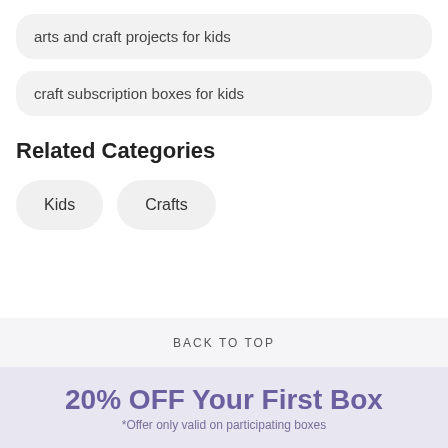arts and craft projects for kids
craft subscription boxes for kids
Related Categories
Kids
Crafts
BACK TO TOP
20% OFF Your First Box
*Offer only valid on participating boxes